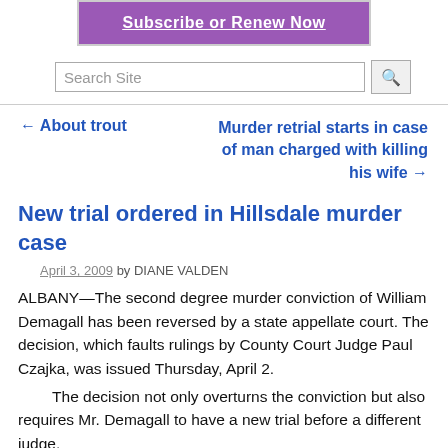[Figure (illustration): Purple banner with white underlined bold text 'Subscribe or Renew Now']
[Figure (other): Search site text input box with search button]
← About trout
Murder retrial starts in case of man charged with killing his wife →
New trial ordered in Hillsdale murder case
April 3, 2009 by DIANE VALDEN
ALBANY—The second degree murder conviction of William Demagall has been reversed by a state appellate court. The decision, which faults rulings by County Court Judge Paul Czajka, was issued Thursday, April 2.
The decision not only overturns the conviction but also requires Mr. Demagall to have a new trial before a different judge.
On December 8, 2006 a Columbia County Court jury convicted Mr. Demagall, then 23, of stabbing and bludgeoning to death George Mancini in February of that year. Mr. Mancini 50, a retired school teacher...